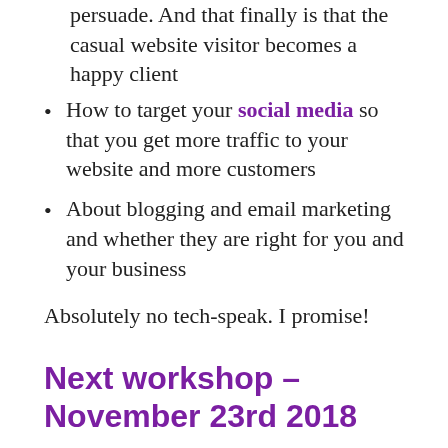persuade. And that finally is that the casual website visitor becomes a happy client
How to target your social media so that you get more traffic to your website and more customers
About blogging and email marketing and whether they are right for you and your business
Absolutely no tech-speak. I promise!
Next workshop – November 23rd 2018
Book your place